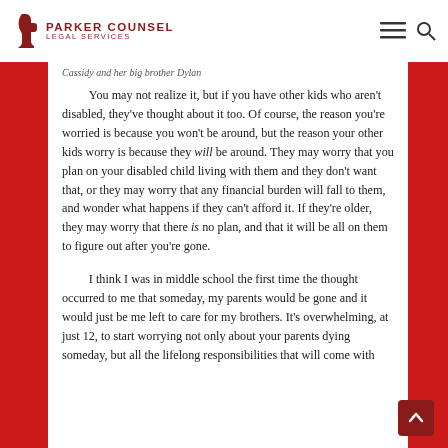Parker Counsel Legal Services
Cassidy and her big brother Dylan
You may not realize it, but if you have other kids who aren't disabled, they've thought about it too. Of course, the reason you're worried is because you won't be around, but the reason your other kids worry is because they will be around. They may worry that you plan on your disabled child living with them and they don't want that, or they may worry that any financial burden will fall to them, and wonder what happens if they can't afford it. If they're older, they may worry that there is no plan, and that it will be all on them to figure out after you're gone.
I think I was in middle school the first time the thought occurred to me that someday, my parents would be gone and it would just be me left to care for my brothers. It's overwhelming, at just 12, to start worrying not only about your parents dying someday, but all the lifelong responsibilities that will come with